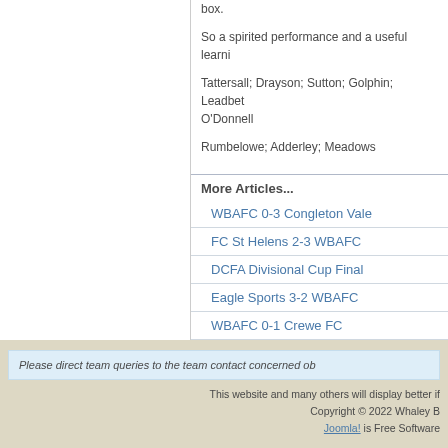box.
So a spirited performance and a useful learni
Tattersall; Drayson; Sutton; Golphin; Leadbet O'Donnell
Rumbelowe; Adderley; Meadows
More Articles...
WBAFC 0-3 Congleton Vale
FC St Helens 2-3 WBAFC
DCFA Divisional Cup Final
Eagle Sports 3-2 WBAFC
WBAFC 0-1 Crewe FC
<< Start < Prev 1 2
Please direct team queries to the team contact concerned ob
This website and many others will display better if
Copyright © 2022 Whaley B
Joomla! is Free Software